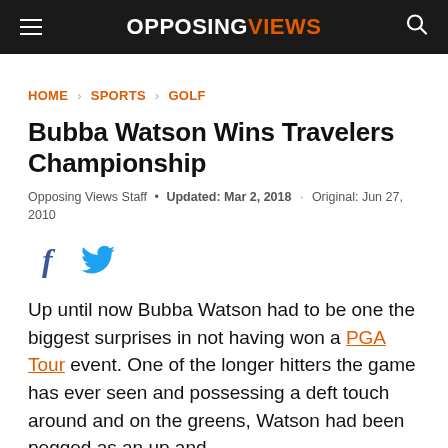OPPOSINGVIEWS
HOME > SPORTS > GOLF
Bubba Watson Wins Travelers Championship
Opposing Views Staff • Updated: Mar 2, 2018 · Original: Jun 27, 2010
[Figure (other): Facebook and Twitter social share icons]
Up until now Bubba Watson had to be one the biggest surprises in not having won a PGA Tour event. One of the longer hitters the game has ever seen and possessing a deft touch around and on the greens, Watson had been pegged as an up and